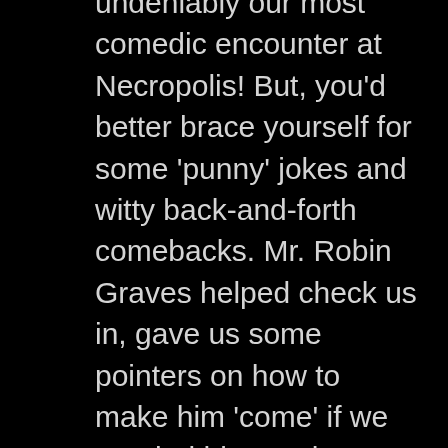undeniably our most comedic encounter at Necropolis! But, you'd better brace yourself for some 'punny' jokes and witty back-and-forth comebacks. Mr. Robin Graves helped check us in, gave us some pointers on how to make him 'come' if we needed him, and thanked us in advance for the YouTube video that he was about to watch from our room! I mean, what else can you expect for a pay-by-the-hour hotel room, right? Beggars can't be choosers here, folks. As we wound our way into room 13 (multiple times), we encountered a new set of inhabitants each time, each of which had their own distinct, crazed, or